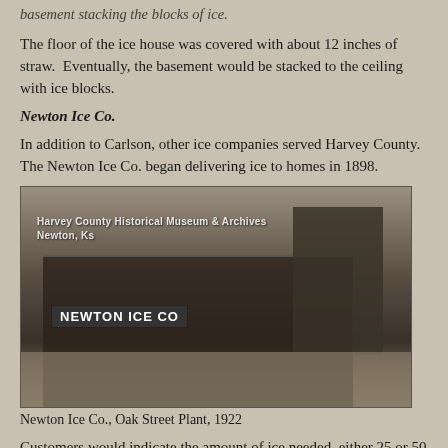basement stacking the blocks of ice.
The floor of the ice house was covered with about 12 inches of straw.  Eventually, the basement would be stacked to the ceiling with ice blocks.
Newton Ice Co.
In addition to Carlson, other ice companies served Harvey County.  The Newton Ice Co. began delivering ice to homes in 1898.
[Figure (photo): Historical black and white photograph of the Newton Ice Co. Oak Street Plant, 1922. Shows a building with a large sign reading 'NEWTON ICE CO', with a tall water tower structure to the right. Horse-drawn wagons and early automobiles visible in front. Watermark reads 'Harvey County Historical Museum & Archives Newton, Ks'.]
Newton Ice Co., Oak Street Plant, 1922
Customers would indicate the amount of ice needed, either 25 or 50 pounds, with a sign on their door.